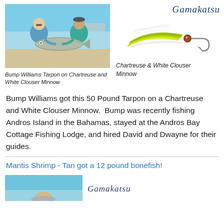[Figure (photo): Two men kneeling on a beach/shallow water flat holding a large tarpon fish between them, with a boat visible in the background and turquoise water.]
[Figure (illustration): Gamakatsu brand logo in cursive blue text, and a Chartreuse and White Clouser Minnow fly lure with green and white feathers/hair and a hook.]
Bump Williams Tarpon on Chartreuse and White Clouser Minnow
Chartreuse & White Clouser Minnow
Bump Williams got this 50 Pound Tarpon on a Chartreuse and White Clouser Minnow.  Bump was recently fishing Andros Island in the Bahamas, stayed at the Andros Bay Cottage Fishing Lodge, and hired David and Dwayne for their guides.
Mantis Shrimp - Tan got a 12 pound bonefish!
[Figure (photo): Partial view of a person holding a bonefish, in shallow water flats.]
[Figure (logo): Gamakatsu brand logo in cursive blue/gray text.]